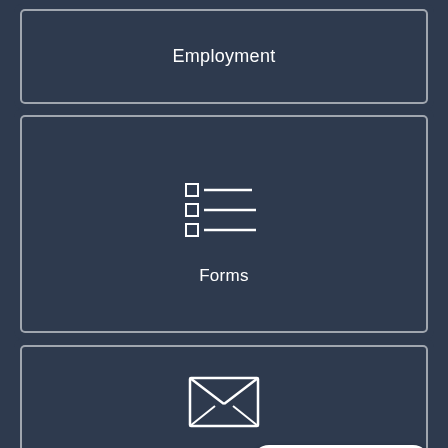[Figure (infographic): Employment navigation card with white border on dark navy background showing the label 'Employment']
[Figure (infographic): Forms navigation card with checklist icon (three checkboxes with lines) on dark navy background showing the label 'Forms']
[Figure (infographic): Notify Me navigation card with envelope/mail icon on dark navy background showing the label 'Notify Me']
Select Language